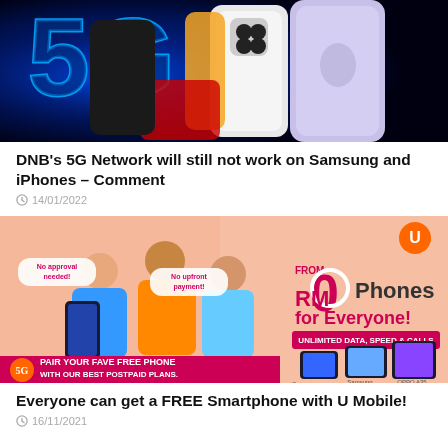[Figure (photo): Photo of 5G neon sign with multiple smartphones (Samsung and iPhone) in background]
DNB's 5G Network will still not work on Samsung and iPhones – Comment
14/01/2022
[Figure (photo): U Mobile advertisement showing RM0 Phones for Everyone promotion with people holding phones, text reads PAIR YOUR FAVE FREE PHONE WITH OUR BEST POSTPAID PLANS, showing Samsung Galaxy A02s, Samsung Galaxy A22, OPPO A35]
Everyone can get a FREE Smartphone with U Mobile!
16/11/2021